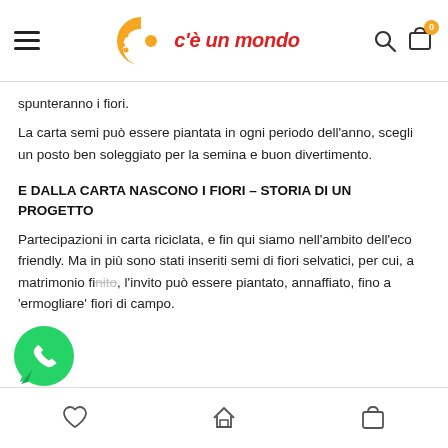c'è un mondo
spunteranno i fiori.
La carta semi può essere piantata in ogni periodo dell'anno, scegli un posto ben soleggiato per la semina e buon divertimento.
E DALLA CARTA NASCONO I FIORI – STORIA DI UN PROGETTO
Partecipazioni in carta riciclata, e fin qui siamo nell'ambito dell'eco friendly. Ma in più sono stati inseriti semi di fiori selvatici, per cui, a matrimonio finito, l'invito può essere piantato, annaffiato, fino a 'germogliare' fiori di campo.